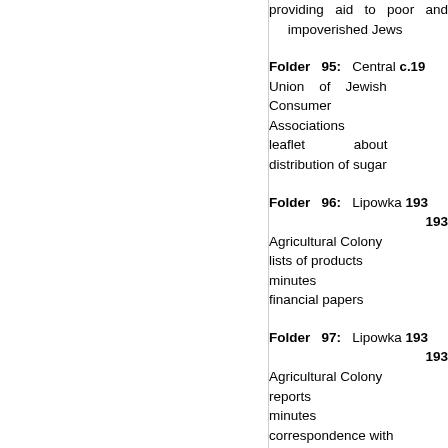providing aid to poor and impoverished Jews
Folder 95: Central Union of Jewish Consumer Associations leaflet about distribution of sugar c.19[?]
Folder 96: Lipowka Agricultural Colony lists of products minutes financial papers 193[?]-193[?]
Folder 97: Lipowka Agricultural Colony reports minutes correspondence with WILTOR 193[?]-193[?]